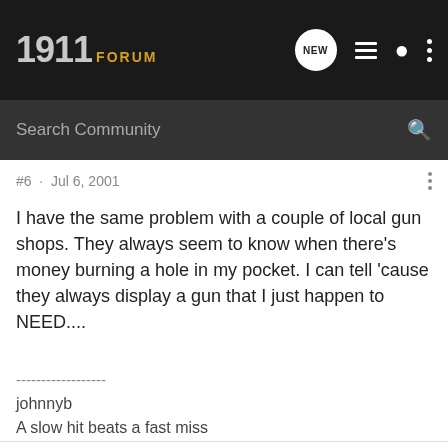1911 FORUM
Search Community
#6 · Jul 6, 2001
I have the same problem with a couple of local gun shops. They always seem to know when there's money burning a hole in my pocket. I can tell 'cause they always display a gun that I just happen to NEED....
------------------
johnnyb
A slow hit beats a fast miss
It's not a sin to Triple Tap!